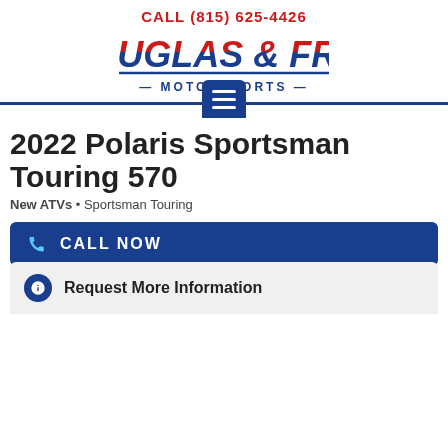CALL (815) 625-4426
[Figure (logo): Douglas & Frye Motorsports logo with red and blue italic bold text, underlined, with MOTORSPORTS subtitle in blue]
2022 Polaris Sportsman Touring 570
New ATVs • Sportsman Touring
CALL NOW
MSRP $9,499
Request More Information